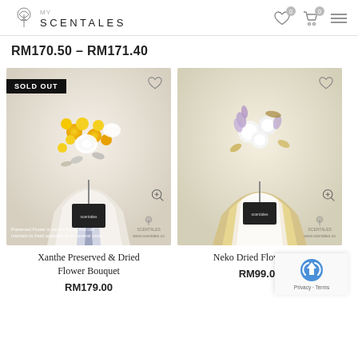SCENTALES
RM170.50 – RM171.40
[Figure (photo): Xanthe Preserved & Dried Flower Bouquet with yellow and white dried flowers, SOLD OUT badge, heart icon, with SCENTALES watermark and brand logo at bottom]
[Figure (photo): Neko Dried Flower Bouquet with white cotton flowers and purple dried flowers in gold and white wrapping, with heart icon and SCENTALES watermark]
Xanthe Preserved & Dried Flower Bouquet
RM179.00
Neko Dried Flower B...
RM99.00